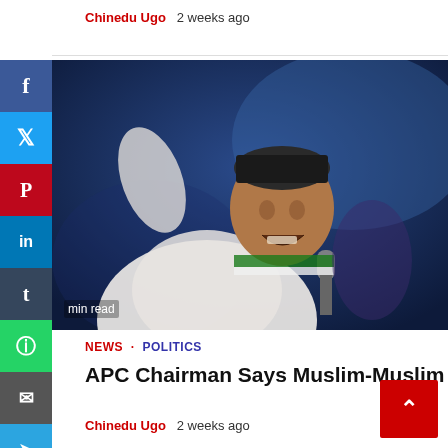Chinedu Ugo  2 weeks ago
[Figure (photo): A man in a white robe and dark cap raising his hand and holding a microphone, speaking at a political rally with a blue-lit background]
min read
NEWS · POLITICS
APC Chairman Says Muslim-Muslim Ticket Is Best For Nigeria
Chinedu Ugo  2 weeks ago